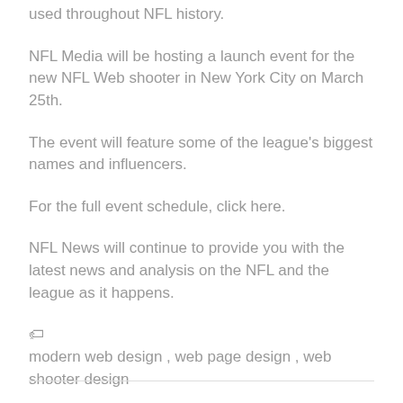used throughout NFL history.
NFL Media will be hosting a launch event for the new NFL Web shooter in New York City on March 25th.
The event will feature some of the league's biggest names and influencers.
For the full event schedule, click here.
NFL News will continue to provide you with the latest news and analysis on the NFL and the league as it happens.
🏷 modern web design , web page design , web shooter design